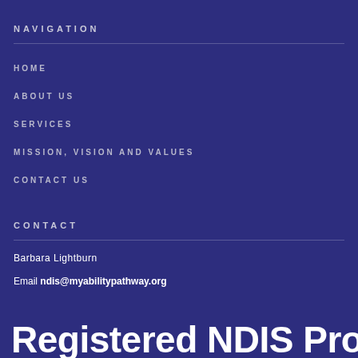NAVIGATION
HOME
ABOUT US
SERVICES
MISSION, VISION AND VALUES
CONTACT US
CONTACT
Barbara Lightburn
Email ndis@myabilitypathway.org
Registered NDIS Provider